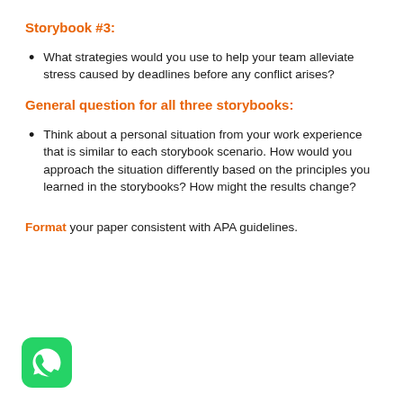Storybook #3:
What strategies would you use to help your team alleviate stress caused by deadlines before any conflict arises?
General question for all three storybooks:
Think about a personal situation from your work experience that is similar to each storybook scenario. How would you approach the situation differently based on the principles you learned in the storybooks? How might the results change?
Format your paper consistent with APA guidelines.
[Figure (logo): WhatsApp logo — green rounded square with white phone handset icon]